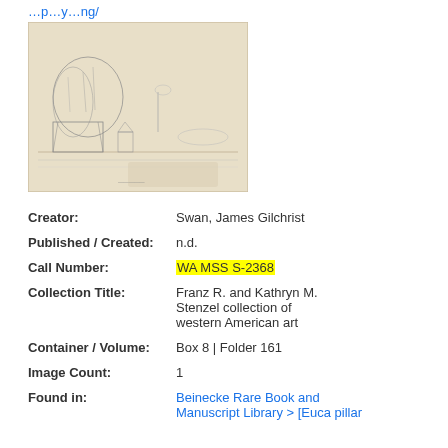…p…y…ng/
[Figure (illustration): Pencil sketch of a landscape with trees, rocks, and distant structures on a shore]
Creator: Swan, James Gilchrist
Published / Created: n.d.
Call Number: WA MSS S-2368
Collection Title: Franz R. and Kathryn M. Stenzel collection of western American art
Container / Volume: Box 8 | Folder 161
Image Count: 1
Found in: Beinecke Rare Book and Manuscript Library > [Euca pillar